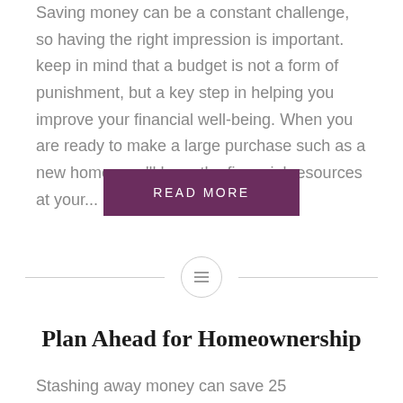Saving money can be a constant challenge, so having the right impression is important. keep in mind that a budget is not a form of punishment, but a key step in helping you improve your financial well-being. When you are ready to make a large purchase such as a new home, you'll have the financial resources at your...
READ MORE
[Figure (other): Horizontal divider with a centered circle containing a lines/menu icon]
Plan Ahead for Homeownership
Stashing away money can save 25 experiences with listing 2...